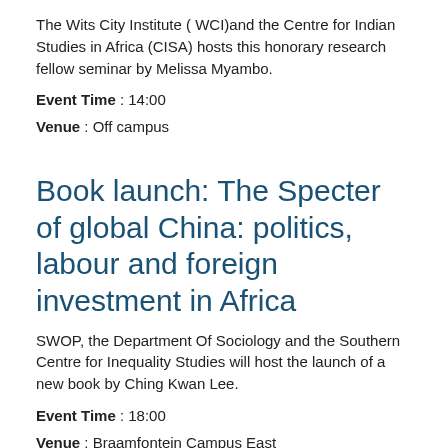The Wits City Institute ( WCI)and the Centre for Indian Studies in Africa (CISA) hosts this honorary research fellow seminar by Melissa Myambo.
Event Time : 14:00
Venue : Off campus
Book launch: The Specter of global China: politics, labour and foreign investment in Africa
SWOP, the Department Of Sociology and the Southern Centre for Inequality Studies will host the launch of a new book by Ching Kwan Lee.
Event Time : 18:00
Venue : Braamfontein Campus East